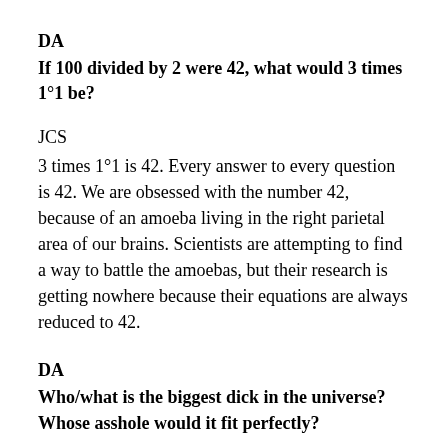DA
If 100 divided by 2 were 42, what would 3 times 1°1 be?
JCS
3 times 1°1 is 42. Every answer to every question is 42. We are obsessed with the number 42, because of an amoeba living in the right parietal area of our brains. Scientists are attempting to find a way to battle the amoebas, but their research is getting nowhere because their equations are always reduced to 42.
DA
Who/what is the biggest dick in the universe? Whose asshole would it fit perfectly?
JCS
42